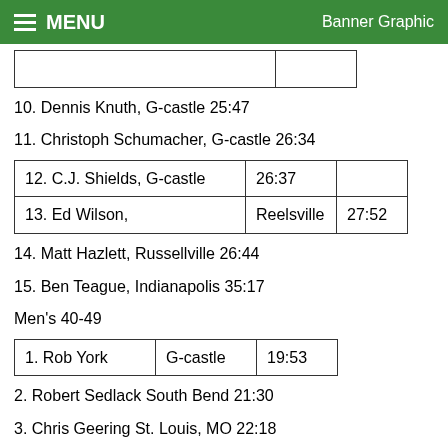MENU  Banner Graphic
| (partial row cut off) |  |
10. Dennis Knuth, G-castle 25:47
11. Christoph Schumacher, G-castle 26:34
| 12. C.J. Shields, G-castle | 26:37 |  |
| 13. Ed Wilson, | Reelsville | 27:52 |
14. Matt Hazlett, Russellville 26:44
15. Ben Teague, Indianapolis 35:17
Men's 40-49
| 1. Rob York | G-castle | 19:53 |
2. Robert Sedlack South Bend 21:30
3. Chris Geering St. Louis, MO 22:18